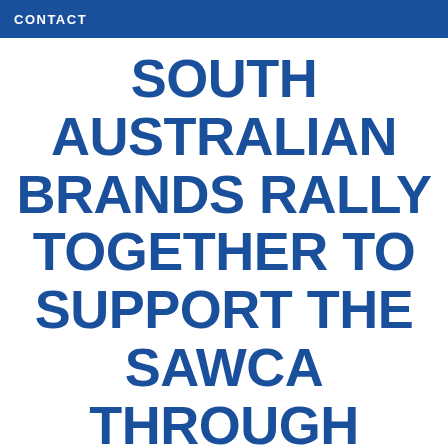CONTACT
SOUTH AUSTRALIAN BRANDS RALLY TOGETHER TO SUPPORT THE SAWCA THROUGH FOODLAND SCONE DRIVE